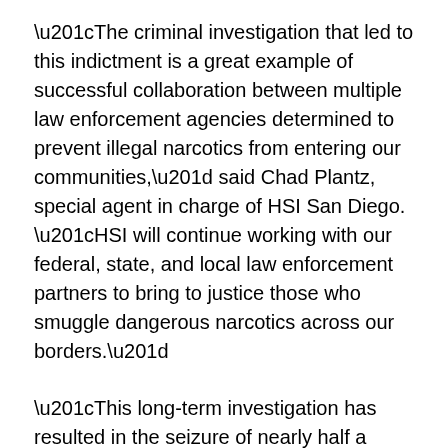“The criminal investigation that led to this indictment is a great example of successful collaboration between multiple law enforcement agencies determined to prevent illegal narcotics from entering our communities,” said Chad Plantz, special agent in charge of HSI San Diego. “HSI will continue working with our federal, state, and local law enforcement partners to bring to justice those who smuggle dangerous narcotics across our borders.”
“This long-term investigation has resulted in the seizure of nearly half a million fentanyl-laced counterfeit pills plus additional quantities of fentanyl in powder form,” said U.S. Attorney Randy Grossman. “As fentanyl continues to fuel the ongoing opioid epidemic and claim ever more lives, we will use every available resource to find, apprehend, and hold accountable those who seek to profit from it, no matter where they are.” Grossman thanked the prosecution team as well as the DEA, HSI, and the San Diego County Sheriff’s